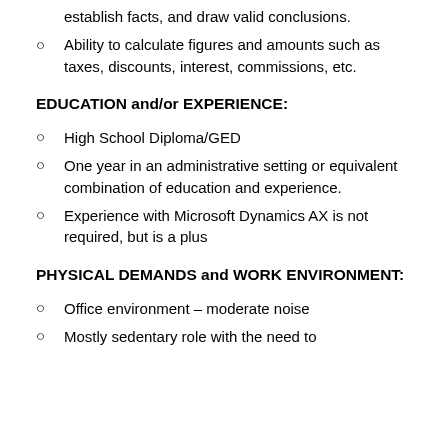establish facts, and draw valid conclusions.
Ability to calculate figures and amounts such as taxes, discounts, interest, commissions, etc.
EDUCATION and/or EXPERIENCE:
High School Diploma/GED
One year in an administrative setting or equivalent combination of education and experience.
Experience with Microsoft Dynamics AX is not required, but is a plus
PHYSICAL DEMANDS and WORK ENVIRONMENT:
Office environment – moderate noise
Mostly sedentary role with the need to